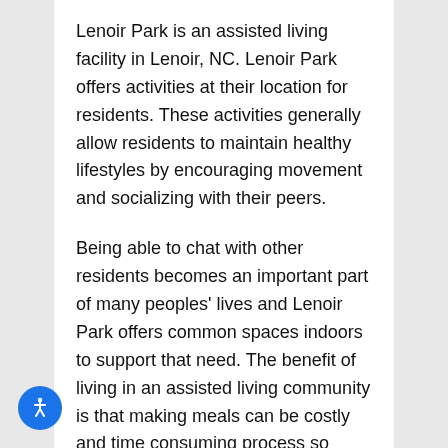Lenoir Park is an assisted living facility in Lenoir, NC. Lenoir Park offers activities at their location for residents. These activities generally allow residents to maintain healthy lifestyles by encouraging movement and socializing with their peers.
Being able to chat with other residents becomes an important part of many peoples' lives and Lenoir Park offers common spaces indoors to support that need. The benefit of living in an assisted living community is that making meals can be costly and time consuming process so Lenoir Park provides meals for residents.
Staff is awake and available 24 hours a
[Figure (illustration): Blue circular accessibility icon button with white wheelchair/person symbol in bottom-left corner of the page]